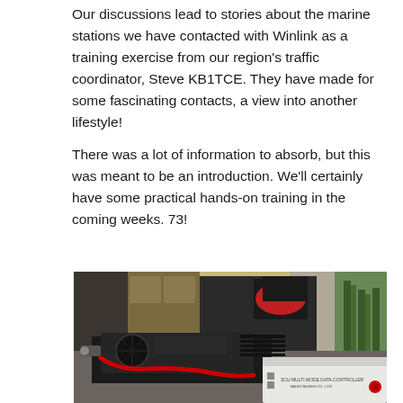Our discussions lead to stories about the marine stations we have contacted with Winlink as a training exercise from our region's traffic coordinator, Steve KB1TCE. They have made for some fascinating contacts, a view into another lifestyle!
There was a lot of information to absorb, but this was meant to be an introduction. We'll certainly have some practical hands-on training in the coming weeks. 73!
[Figure (photo): A ham radio transceiver and power supply unit on a table, with a person wearing a black jacket and red face mask visible in the background, along with a plant.]